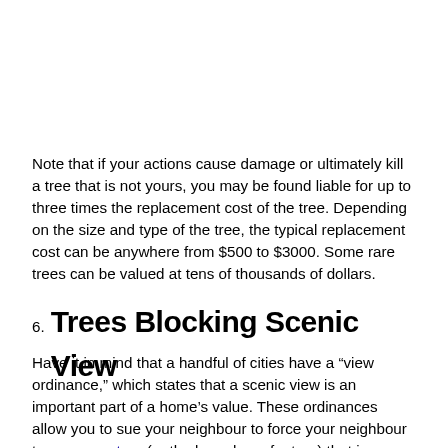Note that if your actions cause damage or ultimately kill a tree that is not yours, you may be found liable for up to three times the replacement cost of the tree. Depending on the size and type of the tree, the typical replacement cost can be anywhere from $500 to $3000. Some rare trees can be valued at tens of thousands of dollars.
6. Trees Blocking Scenic View
Have it in mind that a handful of cities have a “view ordinance,” which states that a scenic view is an important part of a home’s value. These ordinances allow you to sue your neighbour to force your neighbour to remove a tree (or the branches of a tree) that is blocking your scenic view.